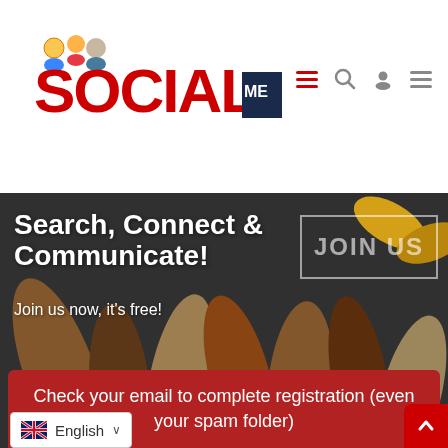[Figure (logo): SocialMe logo — red bold text 'SOCIAL' with cartoon people figures, dark navy 'ME' badge beside it]
[Figure (screenshot): Navigation icons: hamburger menu (red), search (gray), user profile (gray), hamburger menu (gray)]
[Figure (photo): Hero banner photo of diverse hands joined together in a circle from above, dark-toned]
Search, Connect & Communicate!
Join us now, it's free!
[Figure (other): JOIN US text in white with rectangular border overlay on hero image]
Check your email to complete registration (even your spam folder)
English